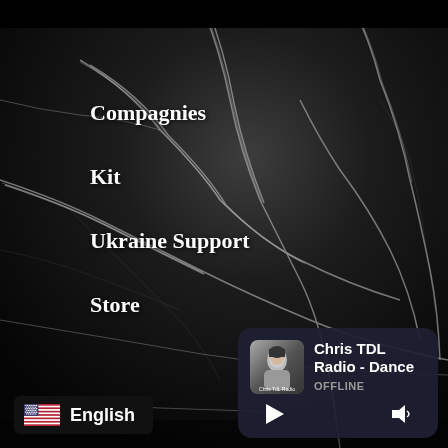[Figure (screenshot): Dark black marble textured background with white veining patterns across the entire page]
Compagnies
Kit
Ukraine Support
Store
[Figure (screenshot): Radio player card showing Chris TDL Radio - Dance station with thumbnail photo, OFFLINE status, play button and volume icon]
Chris TDL Radio - Dance
OFFLINE
English